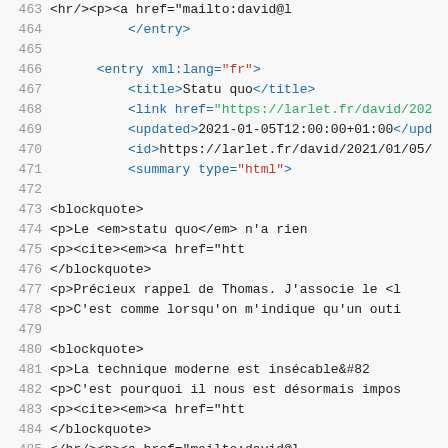[Figure (screenshot): Source code editor screenshot showing XML/Atom feed code with line numbers 463–485. Lines feature syntax highlighting with blue tags, red attribute values, green href values, and dark text for content.]